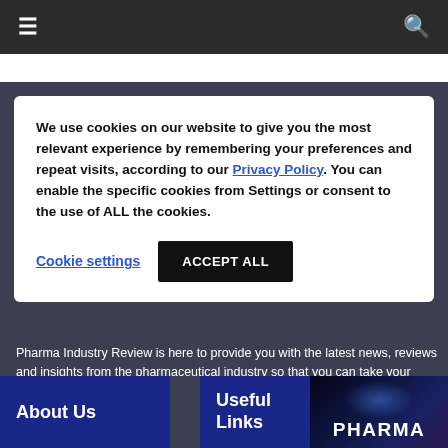≡  🔍
We use cookies on our website to give you the most relevant experience by remembering your preferences and repeat visits, according to our Privacy Policy. You can enable the specific cookies from Settings or consent to the use of ALL the cookies.
Cookie settings    ACCEPT ALL
Pharma Industry Review is here to provide you with the latest news, reviews and insights from the pharmaceutical industry so that you can take your business one step ahead.
About Us
Useful Links
[Figure (photo): Dark background image with 'PHARMA' text in white, featuring blue/purple glowing network or molecular visualization]